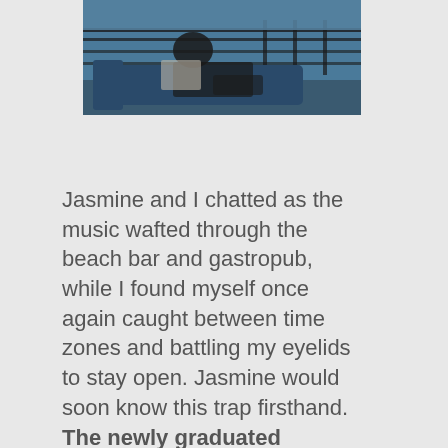[Figure (photo): A person sitting on a blue couch/outdoor furniture on a balcony or terrace, with ocean/sea view in the background and railing visible. Dark toned photo.]
Jasmine and I chatted as the music wafted through the beach bar and gastropub, while I found myself once again caught between time zones and battling my eyelids to stay open. Jasmine would soon know this trap firsthand. The newly graduated commercial flight attendant's